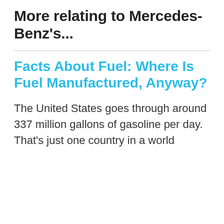More relating to Mercedes-Benz's...
Facts About Fuel: Where Is Fuel Manufactured, Anyway?
The United States goes through around 337 million gallons of gasoline per day. That's just one country in a world